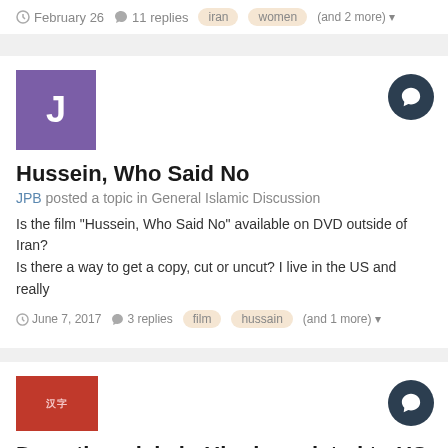February 26  11 replies  iran  women  (and 2 more)
[Figure (other): Purple square avatar with letter J]
Hussein, Who Said No
JPB posted a topic in General Islamic Discussion
Is the film "Hussein, Who Said No" available on DVD outside of Iran? Is there a way to get a copy, cut or uncut? I live in the US and really
June 7, 2017  3 replies  film  hussain  (and 1 more)
[Figure (other): Red square avatar with Arabic/decorative text]
Does the crisis in Ukraine related to US base attack?
Lion of Shia posted a topic in Politics/Current Events
Reports are emerging that on 12 Friday, Iran has targeted the US